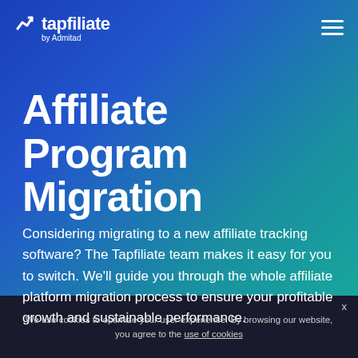Tapfiliate by Admitad
Affiliate Program Migration
Considering migrating to a new affiliate tracking software? The Tapfiliate team makes it easy for you to switch. We'll guide you through the whole affiliate platform migration process to ensure your profitable growth and sustainable performance.
We use cookies to optimize your user experience. By browsing our website, you agree to the use of cookies